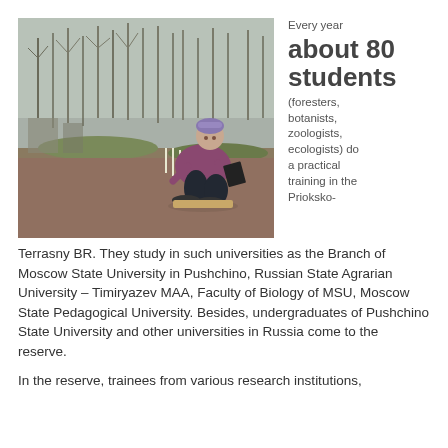[Figure (photo): A student in a purple jacket and hat crouches down examining the ground in a forest/outdoor research area, holding a notebook, with bare trees and scientific equipment stakes in the background.]
Every year about 80 students (foresters, botanists, zoologists, ecologists) do a practical training in the Prioksko-Terrasny BR. They study in such universities as the Branch of Moscow State University in Pushchino, Russian State Agrarian University – Timiryazev MAA, Faculty of Biology of MSU, Moscow State Pedagogical University. Besides, undergraduates of Pushchino State University and other universities in Russia come to the reserve.
In the reserve, trainees from various research institutions,